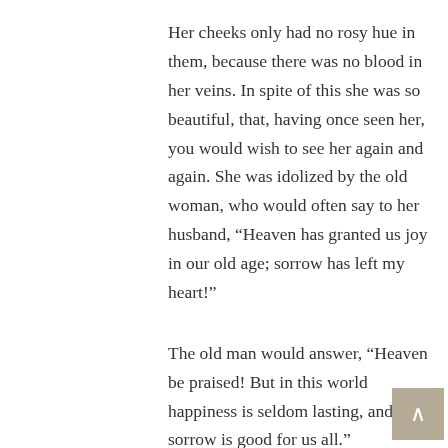Her cheeks only had no rosy hue in them, because there was no blood in her veins. In spite of this she was so beautiful, that, having once seen her, you would wish to see her again and again. She was idolized by the old woman, who would often say to her husband, “Heaven has granted us joy in our old age; sorrow has left my heart!”
The old man would answer, “Heaven be praised! But in this world happiness is seldom lasting, and sorrow is good for us all.”
The long winter had gradually glided away. The glorious sun again shone in the sky, and warmed the cold earth. Where the snow